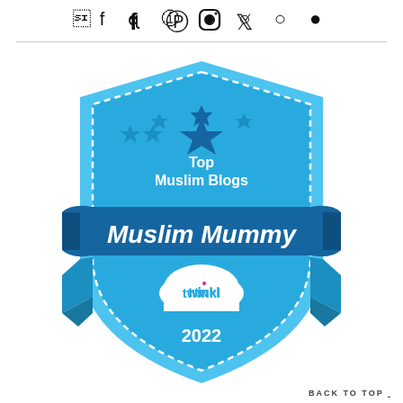f  p  ☉  𝕿
[Figure (illustration): A blue shield/badge award graphic for 'Top Muslim Blogs - Muslim Mummy - twinkl 2022'. The badge has a shield shape with dashed white border, three blue stars at the top, text 'Top Muslim Blogs' in white, a dark blue banner ribbon across the middle with 'Muslim Mummy' in white script, a white cloud shape with 'twinkl' logo in blue, and '2022' below the cloud. Decorative ribbon tails extend on both sides.]
BACK TO TOP ∧